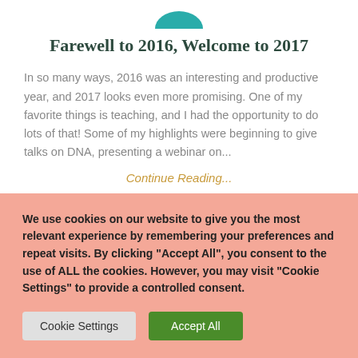[Figure (logo): Teal/green semicircle logo at top center]
Farewell to 2016, Welcome to 2017
In so many ways, 2016 was an interesting and productive year, and 2017 looks even more promising. One of my favorite things is teaching, and I had the opportunity to do lots of that! Some of my highlights were beginning to give talks on DNA, presenting a webinar on...
Continue Reading...
We use cookies on our website to give you the most relevant experience by remembering your preferences and repeat visits. By clicking “Accept All”, you consent to the use of ALL the cookies. However, you may visit “Cookie Settings” to provide a controlled consent.